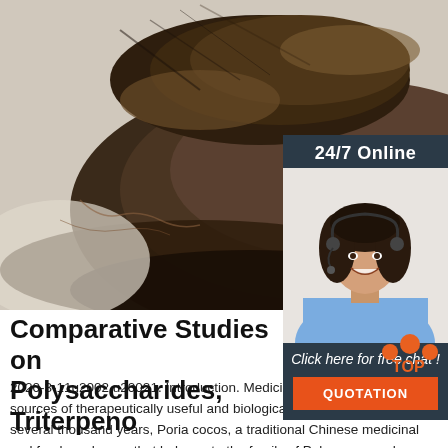[Figure (photo): Close-up photo of dried medicinal mushroom (Poria cocos) with dark brown rough texture on a light background]
[Figure (photo): Sidebar with customer service representative wearing headset, smiling. Dark blue background with '24/7 Online' text, 'Click here for free chat!' text, orange QUOTATION button]
Comparative Studies on Polysaccharides, Triterpeno...
2020-3-11u2002·u20021. Introduction. Medicinal mushrooms are rich sources of therapeutically useful and biologically active agents [].For several thousand years, Poria cocos, a traditional Chinese medicinal and food mushroom that belongs to the family of Polyporaceae, has been used in China and other East Asian countries for its ability to invigorate the